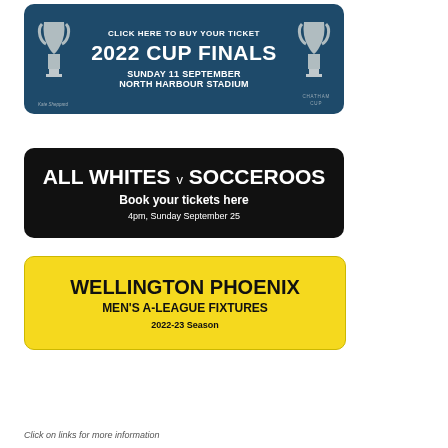[Figure (infographic): Banner: CLICK HERE TO BUY YOUR TICKET / 2022 CUP FINALS / SUNDAY 11 SEPTEMBER / NORTH HARBOUR STADIUM with trophy icons, Kate Sheppard Cup and Chatham Cup logos]
[Figure (infographic): Black banner: ALL WHITES v SOCCEROOS / Book your tickets here / 4pm, Sunday September 25]
[Figure (infographic): Yellow banner: WELLINGTON PHOENIX / MEN'S A-LEAGUE FIXTURES / 2022-23 Season]
Click on links for more information